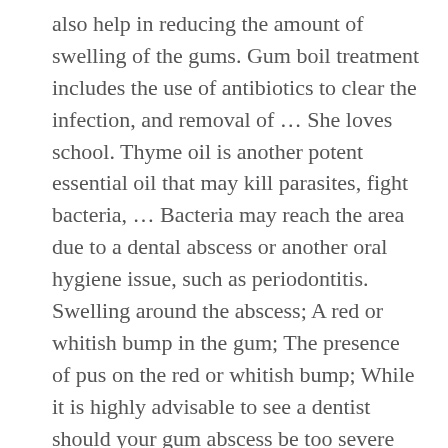also help in reducing the amount of swelling of the gums. Gum boil treatment includes the use of antibiotics to clear the infection, and removal of … She loves school. Thyme oil is another potent essential oil that may kill parasites, fight bacteria, … Bacteria may reach the area due to a dental abscess or another oral hygiene issue, such as periodontitis. Swelling around the abscess; A red or whitish bump in the gum; The presence of pus on the red or whitish bump; While it is highly advisable to see a dentist should your gum abscess be too severe and painful, some highly effective home remedies can help you manage the condition, if not get rid of it entirely. An abscess near upper teeth can travel to the brain. If a child has a tooth abscess, they should visit a dentist as soon as possible. The body responds by sending white blood cells to fight the infection. The tooth